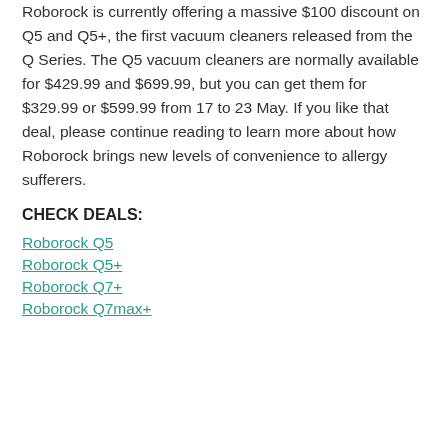Roborock is currently offering a massive $100 discount on Q5 and Q5+, the first vacuum cleaners released from the Q Series. The Q5 vacuum cleaners are normally available for $429.99 and $699.99, but you can get them for $329.99 or $599.99 from 17 to 23 May. If you like that deal, please continue reading to learn more about how Roborock brings new levels of convenience to allergy sufferers.
CHECK DEALS:
Roborock Q5
Roborock Q5+
Roborock Q7+
Roborock Q7max+